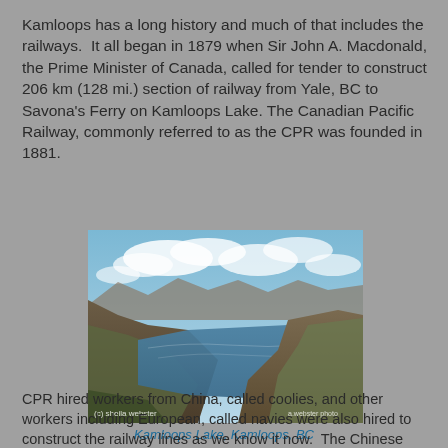Kamloops has a long history and much of that includes the railways. It all began in 1879 when Sir John A. Macdonald, the Prime Minister of Canada, called for tender to construct 206 km (128 mi.) section of railway from Yale, BC to Savona's Ferry on Kamloops Lake. The Canadian Pacific Railway, commonly referred to as the CPR was founded in 1881.
[Figure (photo): Aerial/elevated view of Kamloops Lake in Kamloops, BC, showing a wide blue lake flanked by brown hills and mountains under a partly cloudy sky. Photo credit: (c) sheila webster / a.webster photo.]
Kamloops Lake, Kamloops, BC
CPR hired workers from China, called coolies, and other workers including European, called navies were also hired to construct the railway lines as we know it now. The Chinese were paid less but did the